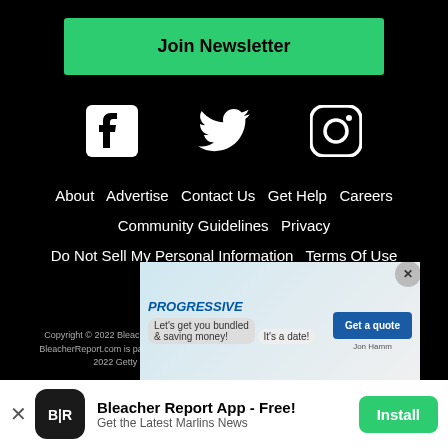Join Newsletter
[Figure (illustration): Social media icons: Facebook, Twitter, Instagram]
About  Advertise  Contact Us  Get Help  Careers  Community Guidelines  Privacy  Do Not Sell My Personal Information  Terms Of Use  AdChoices
Copyright © 2022 Bleacher Report, Inc. Turner Broadcasting System. All Rights Reserved. BleacherReport.com is part of Bleacher Report – Turner Sports Network. All photos copyright 2022 Getty Images. All rights protected by the editorial guidelines.
[Figure (screenshot): Progressive insurance advertisement banner with Jon Hamm]
[Figure (screenshot): Bleacher Report App install banner - Free app, Get the Latest Marlins News]